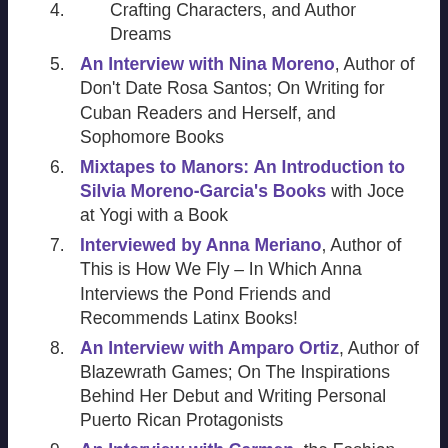Crafting Characters, and Author Dreams
An Interview with Nina Moreno, Author of Don't Date Rosa Santos; On Writing for Cuban Readers and Herself, and Sophomore Books
Mixtapes to Manors: An Introduction to Silvia Moreno-Garcia's Books with Joce at Yogi with a Book
Interviewed by Anna Meriano, Author of This is How We Fly – In Which Anna Interviews the Pond Friends and Recommends Latinx Books!
An Interview with Amparo Ortiz, Author of Blazewrath Games; On The Inspirations Behind Her Debut and Writing Personal Puerto Rican Protagonists
An Interview with Carmen, the Fashion Bookstagrammer; On Her Bookstagram